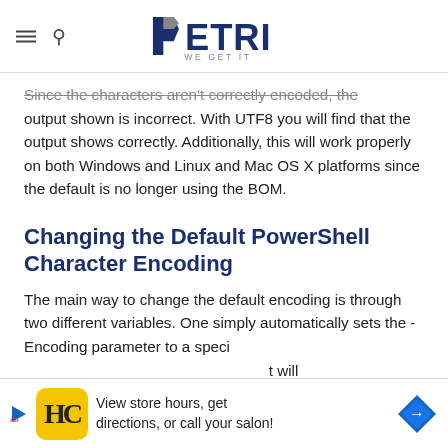PETRI — WE GET IT
Since the characters aren't correctly encoded, the output shown is incorrect. With UTF8 you will find that the output shows correctly. Additionally, this will work properly on both Windows and Linux and Mac OS X platforms since the default is no longer using the BOM.
Changing the Default PowerShell Character Encoding
The main way to change the default encoding is through two different variables. One simply automatically sets the -Encoding parameter to a specific... it will always... user
[Figure (other): Advertisement banner: HC logo with text 'View store hours, get directions, or call your salon!' and a navigation direction sign icon]